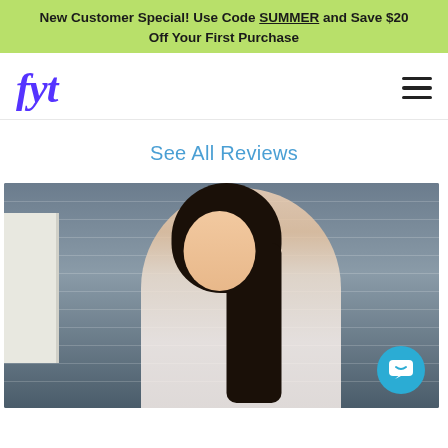New Customer Special! Use Code SUMMER and Save $20 Off Your First Purchase
[Figure (logo): fyt logo in purple italic bold font]
See All Reviews
[Figure (photo): A smiling young woman with long dark hair, wearing a white dress, sitting in front of a dark blue/grey horizontal siding wall with a white window frame visible on the left side. A teal chat support button is visible in the bottom right corner.]